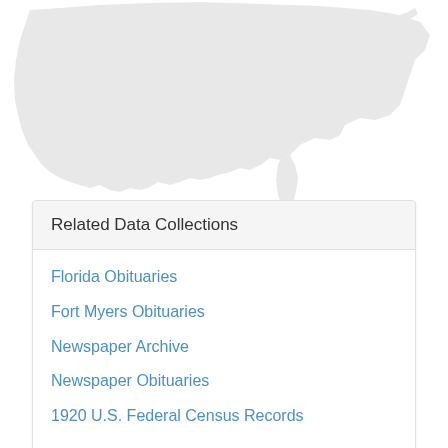[Figure (map): Light gray silhouette map of the continental United States on a white background, partial view showing the top portion of the country.]
Related Data Collections
Florida Obituaries
Fort Myers Obituaries
Newspaper Archive
Newspaper Obituaries
1920 U.S. Federal Census Records